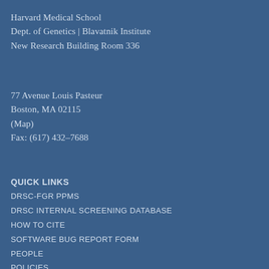Harvard Medical School
Dept. of Genetics | Blavatnik Institute
New Research Building Room 336
77 Avenue Louis Pasteur
Boston, MA 02115
(Map)
Fax: (617) 432–7688
QUICK LINKS
DRSC-FGR PPMS
DRSC INTERNAL SCREENING DATABASE
HOW TO CITE
SOFTWARE BUG REPORT FORM
PEOPLE
POLICIES